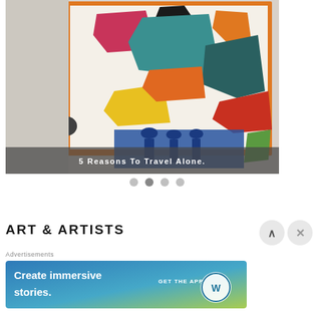[Figure (photo): A person standing in front of a large colorful Matisse-style abstract painting in a museum gallery. The painting has an orange border and features colourful cut-out shapes (pink, teal, black, orange, yellow, red, blue, green). A semi-transparent grey caption bar overlays the bottom of the image reading '5 Reasons To Travel Alone.']
5 Reasons To Travel Alone.
ART & ARTISTS
Advertisements
[Figure (infographic): WordPress advertisement banner: 'Create immersive stories.' with 'GET THE APP' and WordPress logo on blue-to-green gradient background.]